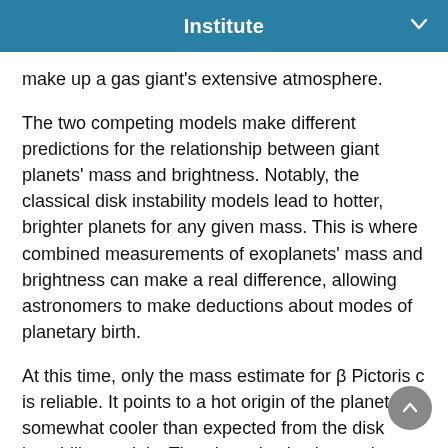Institute
make up a gas giant's extensive atmosphere.
The two competing models make different predictions for the relationship between giant planets' mass and brightness. Notably, the classical disk instability models lead to hotter, brighter planets for any given mass. This is where combined measurements of exoplanets' mass and brightness can make a real difference, allowing astronomers to make deductions about modes of planetary birth.
At this time, only the mass estimate for β Pictoris c is reliable. It points to a hot origin of the planet, but somewhat cooler than expected from the disk instability models. The planet is also hotter than what the classical formation models for core accretion predict – but there are newer core accretion models that would allow for that kind